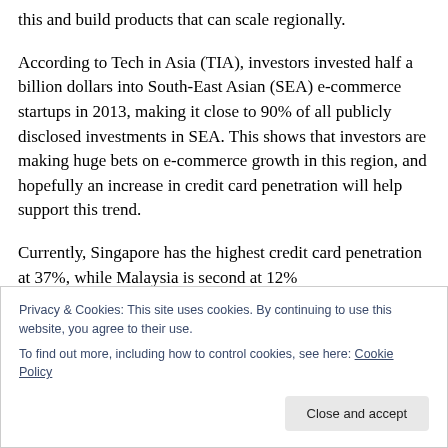this and build products that can scale regionally.
According to Tech in Asia (TIA), investors invested half a billion dollars into South-East Asian (SEA) e-commerce startups in 2013, making it close to 90% of all publicly disclosed investments in SEA. This shows that investors are making huge bets on e-commerce growth in this region, and hopefully an increase in credit card penetration will help support this trend.
Currently, Singapore has the highest credit card penetration at 37%, while Malaysia is second at 12%
Privacy & Cookies: This site uses cookies. By continuing to use this website, you agree to their use.
To find out more, including how to control cookies, see here: Cookie Policy